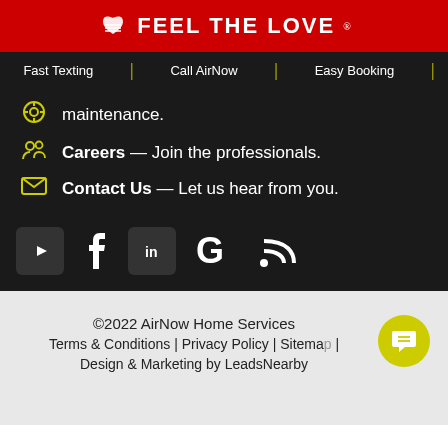FEEL THE LOVE
Fast Texting | Call AirNow | Easy Booking
maintenance.
Careers — Join the professionals.
Contact Us — Let us hear from you.
[Figure (logo): Social media icons: YouTube, Facebook, LinkedIn, Google, Bing]
©2022 AirNow Home Services
Terms & Conditions | Privacy Policy | Sitemap |
Design & Marketing by LeadsNearby